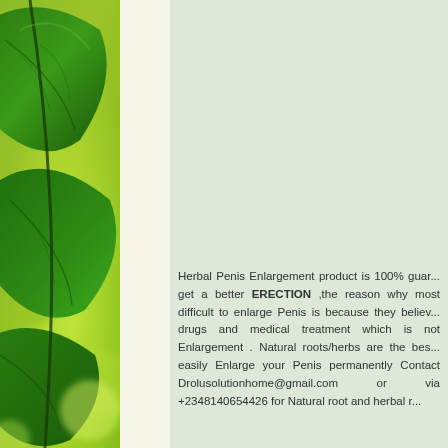[Figure (photo): Green leaves photo on the left side of the page with a blurred bright green background]
Herbal Penis Enlargement product is 100% guar... get a better ERECTION ,the reason why most difficult to enlarge Penis is because they believ... drugs and medical treatment which is not Enlargement . Natural roots/herbs are the bes... easily Enlarge your Penis permanently Contact Drolusolutionhome@gmail.com or via +2348140654426 for Natural root and herbal r...